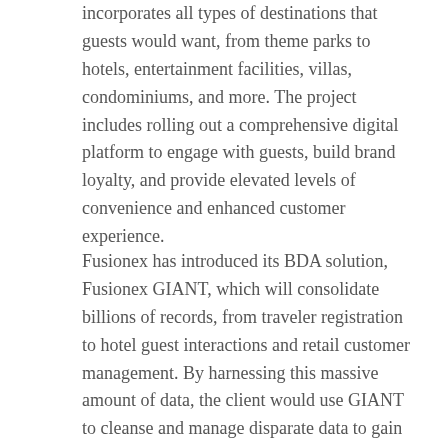incorporates all types of destinations that guests would want, from theme parks to hotels, entertainment facilities, villas, condominiums, and more. The project includes rolling out a comprehensive digital platform to engage with guests, build brand loyalty, and provide elevated levels of convenience and enhanced customer experience.
Fusionex has introduced its BDA solution, Fusionex GIANT, which will consolidate billions of records, from traveler registration to hotel guest interactions and retail customer management. By harnessing this massive amount of data, the client would use GIANT to cleanse and manage disparate data to gain useful insights and information. The information would then be utilized to facilitate business development.